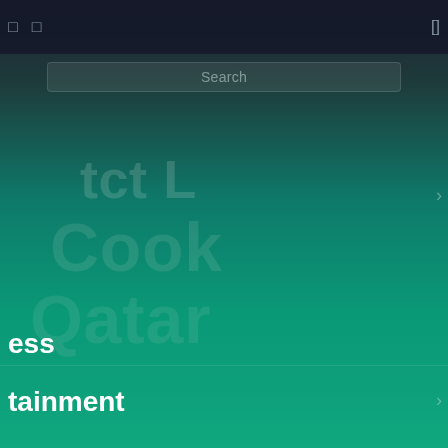[Figure (screenshot): Mobile app navigation menu screenshot with dark top bar, search bar, and navigation items on a teal gradient background. Items visible include partial words: 'ess', 'tainment', 's', 'ng'. Background shows faded overlay text: 'Qatar', 'Cook'.]
Search
ess
tainment
s
ng